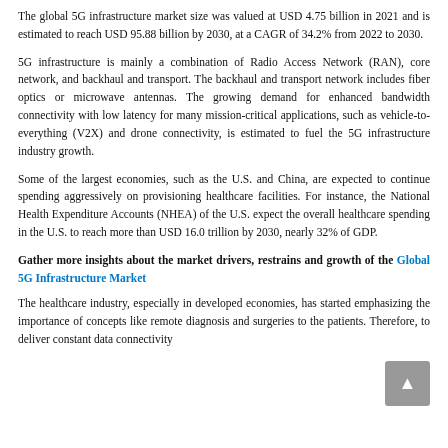The global 5G infrastructure market size was valued at USD 4.75 billion in 2021 and is estimated to reach USD 95.88 billion by 2030, at a CAGR of 34.2% from 2022 to 2030.
5G infrastructure is mainly a combination of Radio Access Network (RAN), core network, and backhaul and transport. The backhaul and transport network includes fiber optics or microwave antennas. The growing demand for enhanced bandwidth connectivity with low latency for many mission-critical applications, such as vehicle-to-everything (V2X) and drone connectivity, is estimated to fuel the 5G infrastructure industry growth.
Some of the largest economies, such as the U.S. and China, are expected to continue spending aggressively on provisioning healthcare facilities. For instance, the National Health Expenditure Accounts (NHEA) of the U.S. expect the overall healthcare spending in the U.S. to reach more than USD 16.0 trillion by 2030, nearly 32% of GDP.
Gather more insights about the market drivers, restrains and growth of the Global 5G Infrastructure Market
The healthcare industry, especially in developed economies, has started emphasizing the importance of concepts like remote diagnosis and surgeries to the patients. Therefore, to deliver constant data connectivity